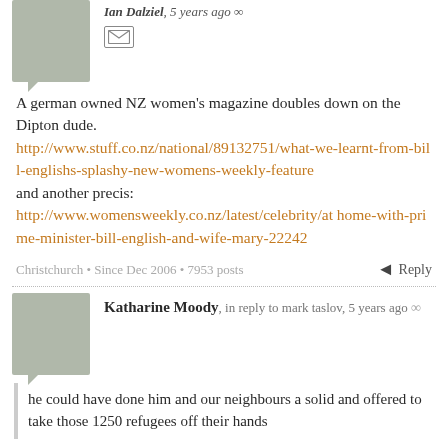[Figure (illustration): Gray user avatar speech bubble icon, top left, partially cut off]
Ian Dalziel, 5 years ago (infinity symbol)
[Figure (illustration): Email/envelope icon button]
A german owned NZ women's magazine doubles down on the Dipton dude.
http://www.stuff.co.nz/national/89132751/what-we-learnt-from-bill-englishs-splashy-new-womens-weekly-feature
and another precis:
http://www.womensweekly.co.nz/latest/celebrity/at home-with-prime-minister-bill-english-and-wife-mary-22242
Christchurch • Since Dec 2006 • 7953 posts
Reply
[Figure (illustration): Gray user avatar speech bubble icon for Katharine Moody]
Katharine Moody, in reply to mark taslov, 5 years ago ∞
he could have done him and our neighbours a solid and offered to take those 1250 refugees off their hands
Exactly